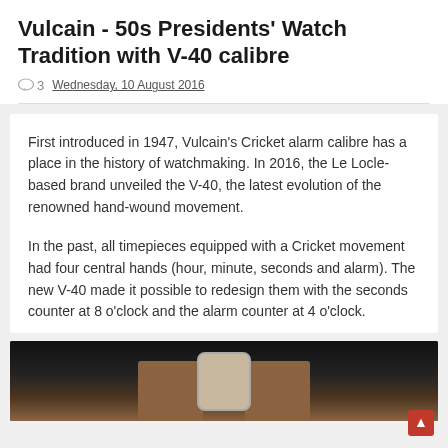Vulcain - 50s Presidents' Watch Tradition with V-40 calibre
3   Wednesday, 10 August 2016
First introduced in 1947, Vulcain's Cricket alarm calibre has a place in the history of watchmaking. In 2016, the Le Locle-based brand unveiled the V-40, the latest evolution of the renowned hand-wound movement.
In the past, all timepieces equipped with a Cricket movement had four central hands (hour, minute, seconds and alarm). The new V-40 made it possible to redesign them with the seconds counter at 8 o'clock and the alarm counter at 4 o'clock.
[Figure (photo): Photo of a watch with brown leather strap, partially visible at the bottom of the page against a dark background.]